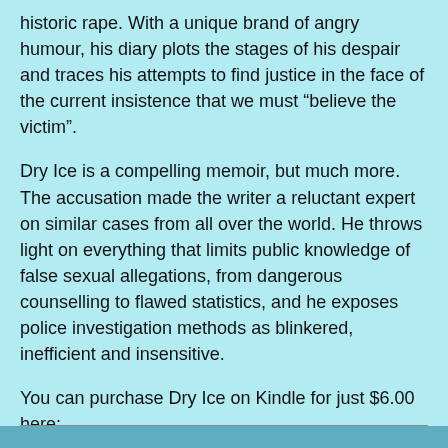historic rape. With a unique brand of angry humour, his diary plots the stages of his despair and traces his attempts to find justice in the face of the current insistence that we must “believe the victim”.
Dry Ice is a compelling memoir, but much more. The accusation made the writer a reluctant expert on similar cases from all over the world. He throws light on everything that limits public knowledge of false sexual allegations, from dangerous counselling to flawed statistics, and he exposes police investigation methods as blinkered, inefficient and insensitive.
You can purchase Dry Ice on Kindle for just $6.00 here: https://www.amazon.com/Dry-Ice-Peter-Joyce-ebook/dp/B01N19JKAR
Peter Joyce writes a blog: www.blackstonesdrum.com